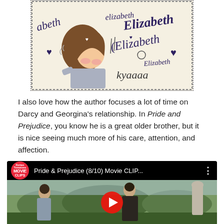[Figure (illustration): Hand-drawn illustration of an anime-style character with brown hair covering their face in embarrassment, surrounded by handwritten 'Elizabeth' text in purple and hearts, with 'kyaaaa' written in the lower right. Border has dotted pattern.]
I also love how the author focuses a lot of time on Darcy and Georgina's relationship. In Pride and Prejudice, you know he is a great older brother, but it is nice seeing much more of his care, attention, and affection.
[Figure (screenshot): YouTube video thumbnail for 'Pride & Prejudice (8/10) Movie CLIP...' from Rotten Tomatoes Movie Clips channel. Shows two figures (man and woman) standing outdoors with gardens and sky in background. A red YouTube play button is overlaid in the center.]